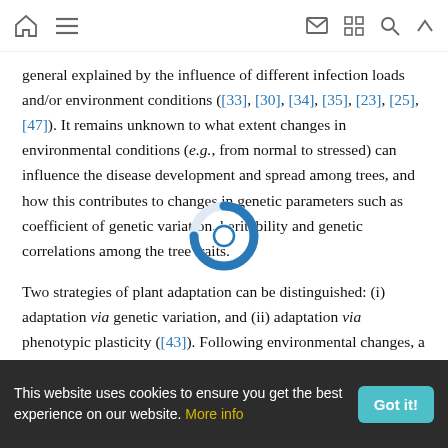Navigation bar with home, menu, mail, grid, search, and up icons
general explained by the influence of different infection loads and/or environment conditions ([33], [30], [34], [35], [23], [25], [47]). It remains unknown to what extent changes in environmental conditions (e.g., from normal to stressed) can influence the disease development and spread among trees, and how this contributes to changes in genetic parameters such as coefficient of genetic variation, heritability and genetic correlations among the tree traits.
Two strategies of plant adaptation can be distinguished: (i) adaptation via genetic variation, and (ii) adaptation via phenotypic plasticity ([43]). Following environmental changes, a population that has a considerable genetic variation adapts through survival and reproduction of the most resistant
This website uses cookies to ensure you get the best experience on our website. More info